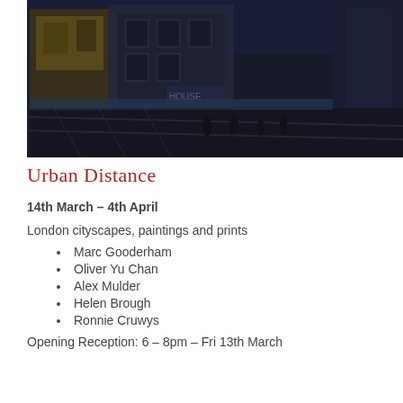[Figure (illustration): Dark urban painting/print showing a city street scene with buildings, railway tracks or road, rendered in deep blues and blacks with hints of ochre/yellow. The style is expressive and painterly, depicting London cityscapes.]
Urban Distance
14th March – 4th April
London cityscapes, paintings and prints
Marc Gooderham
Oliver Yu Chan
Alex Mulder
Helen Brough
Ronnie Cruwys
Opening Reception: 6 – 8pm – Fri 13th March